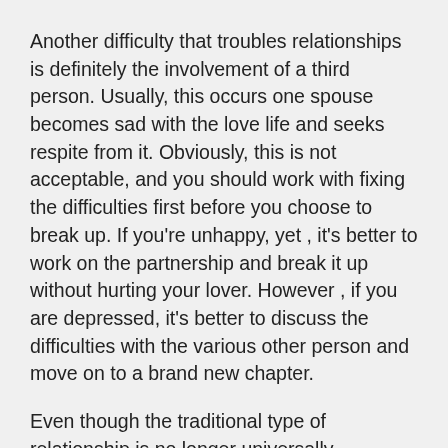Another difficulty that troubles relationships is definitely the involvement of a third person. Usually, this occurs one spouse becomes sad with the love life and seeks respite from it. Obviously, this is not acceptable, and you should work with fixing the difficulties first before you choose to break up. If you're unhappy, yet , it's better to work on the partnership and break it up without hurting your lover. However , if you are depressed, it's better to discuss the difficulties with the various other person and move on to a brand new chapter.
Even though the traditional type of relationship is no longer universally appropriate, there are still several traits that folks look for inside their ideal spouse. In this time period, women tend to place a higher importance about gender jobs than they did in the past. Furthermore, modern couples may be equal lovers than in the past. Yet , there are still some